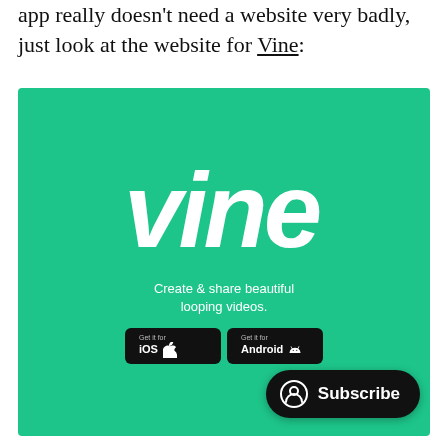app really doesn't need a website very badly, just look at the website for Vine:
[Figure (screenshot): Vine app promotional screenshot showing the Vine logo in white cursive text on a teal/green background, with tagline 'Create & share beautiful looping videos.' and download buttons for iOS and Android. A black 'Subscribe' button overlay appears in the bottom right corner.]